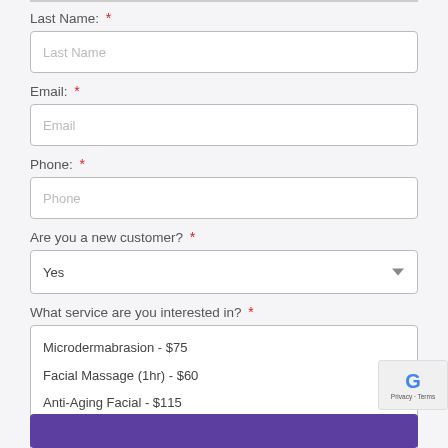Last Name: *
Last Name (placeholder)
Email: *
Email (placeholder)
Phone: *
Phone (placeholder)
Are you a new customer? *
Yes (selected)
What service are you interested in? *
Microdermabrasion - $75
Facial Massage (1hr) - $60
Anti-Aging Facial - $115
Collagen Boost Facial - $95